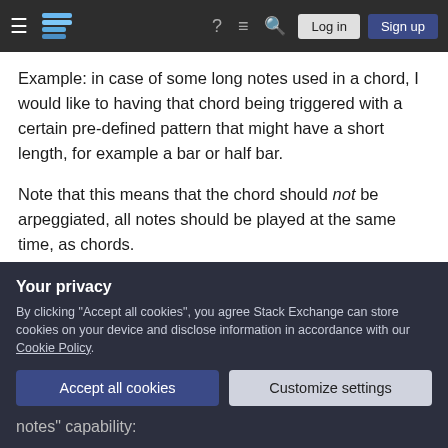Stack Exchange navigation bar with hamburger menu, logo, help, chat, search icons, Log in and Sign up buttons
Example: in case of some long notes used in a chord, I would like to having that chord being triggered with a certain pre-defined pattern that might have a short length, for example a bar or half bar.
Note that this means that the chord should not be arpeggiated, all notes should be played at the same time, as chords.
I think that this is a device that might be very
Your privacy
By clicking "Accept all cookies", you agree Stack Exchange can store cookies on your device and disclose information in accordance with our Cookie Policy.
Accept all cookies
Customize settings
notes" capability: